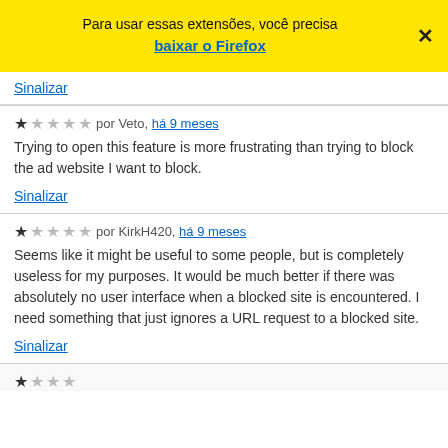[Figure (screenshot): Yellow banner with text 'Para usar essas extensões, você precisa baixar o Firefox' and a close (X) button]
Sinalizar
★☆☆☆☆ por Veto, há 9 meses
Trying to open this feature is more frustrating than trying to block the ad website I want to block.
Sinalizar
★☆☆☆☆ por KirkH420, há 9 meses
Seems like it might be useful to some people, but is completely useless for my purposes. It would be much better if there was absolutely no user interface when a blocked site is encountered. I need something that just ignores a URL request to a blocked site.
Sinalizar